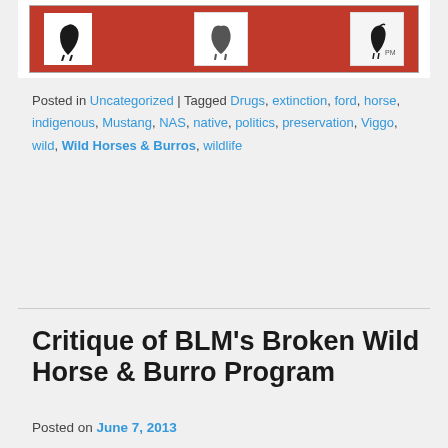[Figure (photo): Red background image with horse/equestrian icons and logos including a rearing horse silhouette on white background]
Posted in Uncategorized | Tagged Drugs, extinction, ford, horse, indigenous, Mustang, NAS, native, politics, preservation, Viggo, wild, Wild Horses & Burros, wildlife
Critique of BLM’s Broken Wild Horse & Burro Program
Posted on June 7, 2013
[Figure (photo): Photo of a group of burros/donkeys in a pen with text overlay reading 'Saving Ass in America, a film by Carl Mrozek']